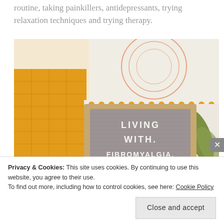routine, taking painkillers, antidepressants, trying relaxation techniques and trying therapy.
[Figure (photo): A decorative letter board with the text 'LIVING WITH FIBROMYALGIA.' and a heart symbol, propped against colorful patterned cushions (orange and white) on a light background with a green leaf visible.]
Privacy & Cookies: This site uses cookies. By continuing to use this website, you agree to their use.
To find out more, including how to control cookies, see here: Cookie Policy
Close and accept